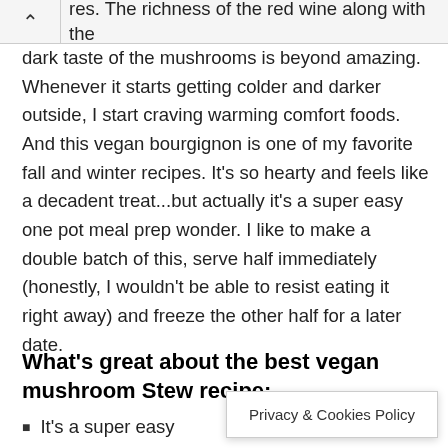res. The richness of the red wine along with the dark taste of the mushrooms is beyond amazing. Whenever it starts getting colder and darker outside, I start craving warming comfort foods. And this vegan bourgignon is one of my favorite fall and winter recipes. It's so hearty and feels like a decadent treat...but actually it's a super easy one pot meal prep wonder. I like to make a double batch of this, serve half immediately (honestly, I wouldn't be able to resist eating it right away) and freeze the other half for a later date.
What's great about the best vegan mushroom Stew recipe:
It's a super easy
Privacy & Cookies Policy